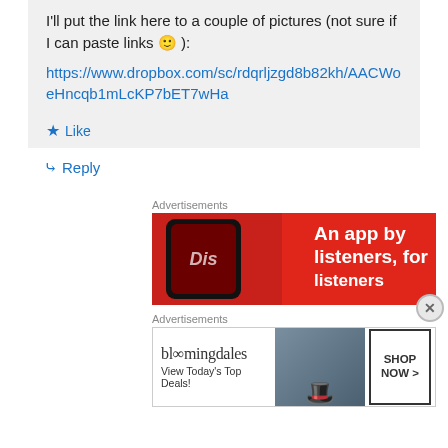I'll put the link here to a couple of pictures (not sure if I can paste links 🙂 ):
https://www.dropbox.com/sc/rdqrljzgd8b82kh/AACWoeHncqb1mLcKP7bET7wHa
★ Like
↳ Reply
Advertisements
[Figure (photo): Red advertisement banner for a music app showing a phone and text 'An app by listeners, for listeners']
Advertisements
[Figure (photo): Bloomingdale's advertisement banner with logo, 'View Today's Top Deals!' text, woman with hat, and 'SHOP NOW >' button]